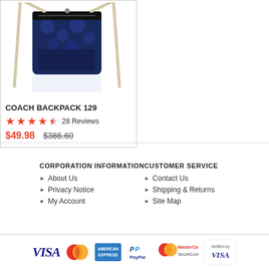[Figure (photo): Blue Coach crossbody/backpack bag with cream/beige strap on white background]
COACH BACKPACK 129
★★★★½  28 Reviews
$49.98  $386.60
CORPORATION INFORMATION
About Us
Privacy Notice
My Account
CUSTOMER SERVICE
Contact Us
Shipping & Returns
Site Map
[Figure (logo): Payment method logos: VISA, MasterCard, American Express, PayPal, MasterCard SecureCode, Verified by VISA]